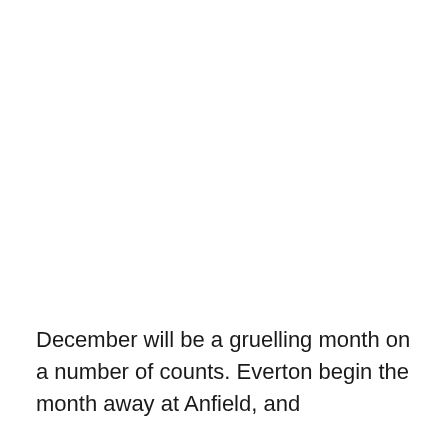December will be a gruelling month on a number of counts. Everton begin the month away at Anfield, and